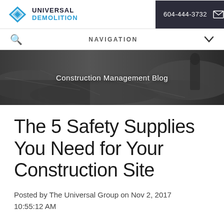UNIVERSAL DEMOLITION | 604-444-3732
NAVIGATION
[Figure (photo): Dark grayscale banner photo of a construction site with demolition debris and workers, overlaid with text 'Construction Management Blog']
The 5 Safety Supplies You Need for Your Construction Site
Posted by The Universal Group on Nov 2, 2017 10:55:12 AM